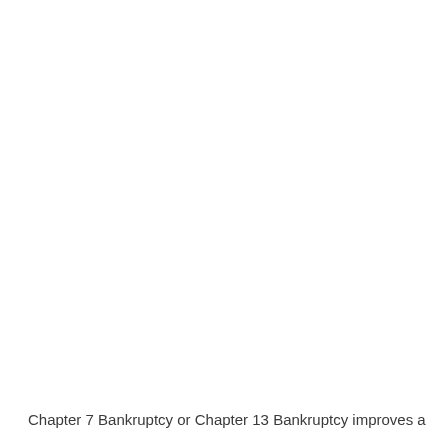Chapter 7 Bankruptcy or Chapter 13 Bankruptcy improves a